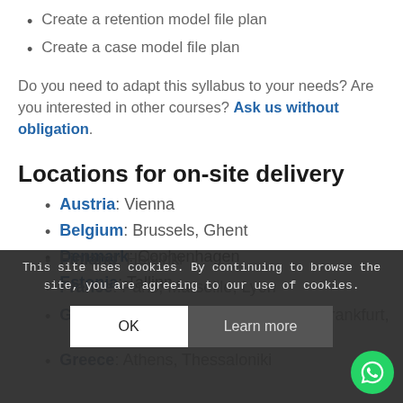Create a retention model file plan
Create a case model file plan
Do you need to adapt this syllabus to your needs? Are you interested in other courses? Ask us without obligation.
Locations for on-site delivery
Austria: Vienna
Belgium: Brussels, Ghent
Denmark: Cophenhagen
Estonia: Tallinn
Finland: Helsinki
France: Paris, Marseille, Lyon
Germany: Berlin, Munich, Cologne, Frankfurt, Hamburg
Greece: Athens, Thessaloniki